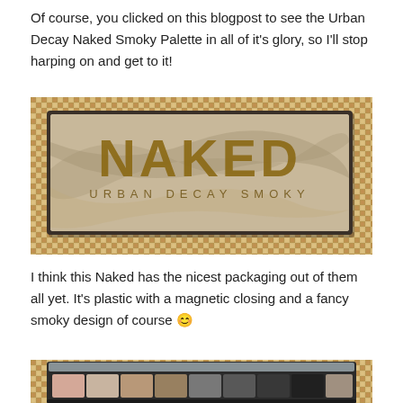Of course, you clicked on this blogpost to see the Urban Decay Naked Smoky Palette in all of it's glory, so I'll stop harping on and get to it!
[Figure (photo): Urban Decay Naked Smoky Palette packaging — closed palette with 'NAKED' text and smoky swirled design on lid, placed on a woven mat background]
I think this Naked has the nicest packaging out of them all yet. It's plastic with a magnetic closing and a fancy smoky design of course 😊
[Figure (photo): Urban Decay Naked Smoky Palette open or partially visible, showing eyeshadow pans in neutral and smoky tones, on woven mat background]